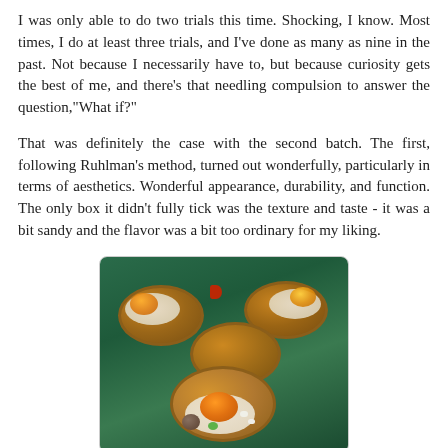I was only able to do two trials this time. Shocking, I know. Most times, I do at least three trials, and I've done as many as nine in the past. Not because I necessarily have to, but because curiosity gets the best of me, and there's that needling compulsion to answer the question,"What if?"
That was definitely the case with the second batch. The first, following Ruhlman's method, turned out wonderfully, particularly in terms of aesthetics. Wonderful appearance, durability, and function. The only box it didn't fully tick was the texture and taste - it was a bit sandy and the flavor was a bit too ordinary for my liking.
[Figure (photo): A close-up photo of several small tart shells filled with cream, orange segments, and various garnishes, displayed on a dark green surface.]